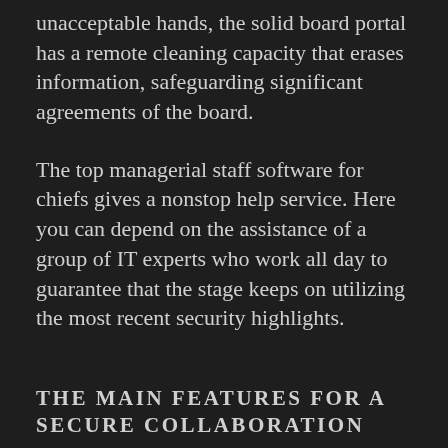unacceptable hands, the solid board portal has a remote cleaning capacity that erases information, safeguarding significant agreements of the board.
The top managerial staff software for chiefs gives a nonstop help service. Here you can depend on the assistance of a group of IT experts who work all day to guarantee that the stage keeps on utilizing the most recent security highlights.
THE MAIN FEATURES FOR A SECURE COLLABORATION